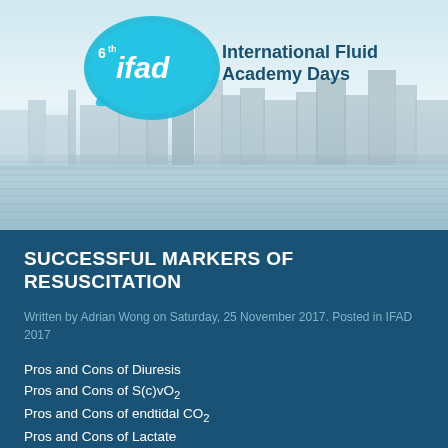[Figure (illustration): 6th IFAD International Fluid Academy Days banner with city skyline (Antwerp) reflected in water, and the IFAD logo featuring a blue teardrop/droplet shape with '6th ifad' text inside, alongside 'International Fluid Academy Days' in dark blue text.]
SUCCESSFUL MARKERS OF RESUSCITATION
Written by Adrian Wong on Saturday, 25 November 2017. Posted in IFAD 2017
Pros and Cons of Diuresis
Pros and Cons of S(c)vO2
Pros and Cons of endtidal CO2
Pros and Cons of Lactate
by @concernocus